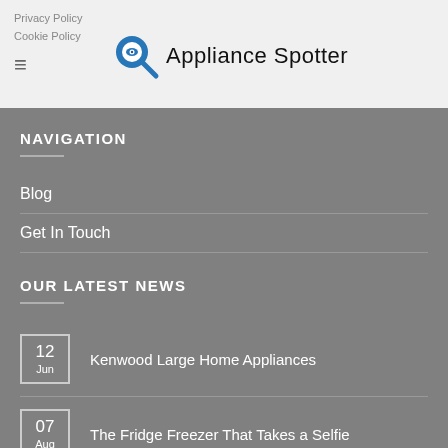Privacy Policy
Cookie Policy
[Figure (logo): Appliance Spotter logo with magnifying glass icon and text 'Appliance Spotter']
NAVIGATION
Blog
Get In Touch
OUR LATEST NEWS
12 Jun — Kenwood Large Home Appliances
07 Aug — The Fridge Freezer That Takes a Selfie
02 — Should you buy a Heat Pump Tumble Dryer?